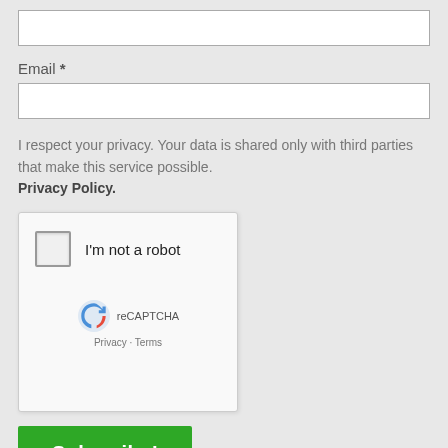[Figure (other): Empty text input field (top, partially visible)]
Email *
[Figure (other): Empty email input field]
I respect your privacy. Your data is shared only with third parties that make this service possible.
Privacy Policy.
[Figure (other): reCAPTCHA widget with 'I'm not a robot' checkbox, reCAPTCHA logo, and Privacy - Terms links]
[Figure (other): Subscribe! green button]